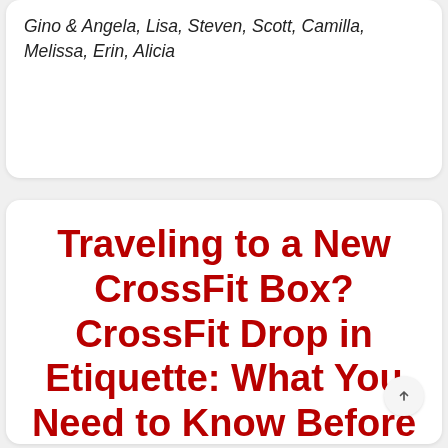Gino & Angela, Lisa, Steven, Scott, Camilla, Melissa, Erin, Alicia
Traveling to a New CrossFit Box? CrossFit Drop in Etiquette: What You Need to Know Before You Go.